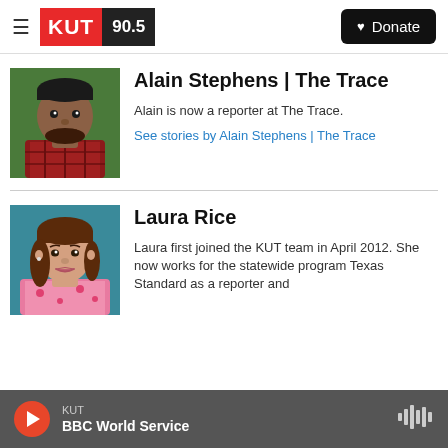KUT 90.5 | Donate
[Figure (photo): Headshot of Alain Stephens, a man wearing a red plaid shirt, smiling, against a green background]
Alain Stephens | The Trace
Alain is now a reporter at The Trace.
See stories by Alain Stephens | The Trace
[Figure (photo): Headshot of Laura Rice, a woman with brown hair, wearing a pink floral top, against a teal background]
Laura Rice
Laura first joined the KUT team in April 2012. She now works for the statewide program Texas Standard as a reporter and
KUT | BBC World Service